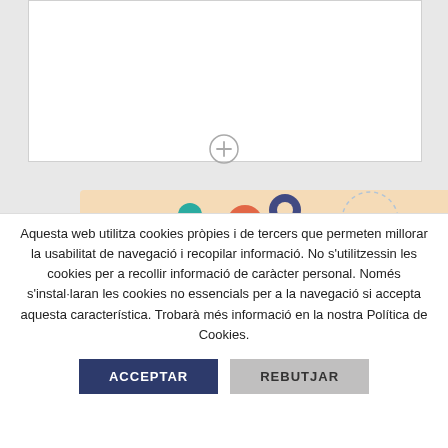[Figure (illustration): White card area with a plus/add icon circle at the bottom center, on a light gray background]
[Figure (illustration): Colorful illustration showing a person with gears (teal, red/orange, dark blue, orange) on a peach/cream background banner]
Aquesta web utilitza cookies pròpies i de tercers que permeten millorar la usabilitat de navegació i recopilar informació. No s'utilitzessin les cookies per a recollir informació de caràcter personal. Només s'instal·laran les cookies no essencials per a la navegació si accepta aquesta característica. Trobarà més informació en la nostra Política de Cookies.
ACCEPTAR
REBUTJAR